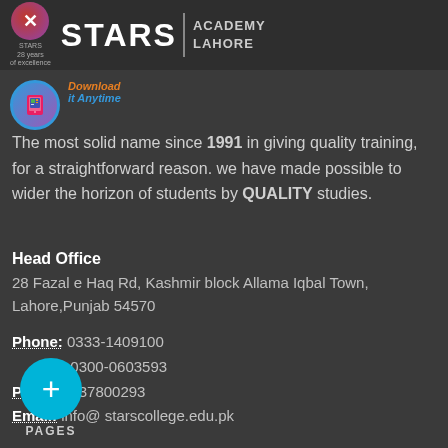[Figure (logo): Stars Academy Lahore logo with circular emblem, 'STARS' text and 'ACADEMY LAHORE' subtitle]
[Figure (logo): Mobile app download icon with hand holding phone, colored text 'Download' and 'it Anytime']
The most solid name since 1991 in giving quality training, for a straightforward reason. we have made possible to wider the horizon of students by QUALITY studies.
Head Office
28 Fazal e Haq Rd, Kashmir block Allama Iqbal Town, Lahore,Punjab 54570
Phone: 0333-1409100
0300-0603593
Ptcl: 042-37800293
Email: info@ starscollege.edu.pk
[Figure (other): Cyan circular button with plus sign (+) and 'PAGES' label below]